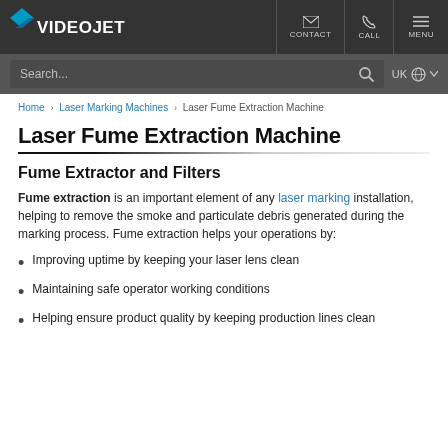Videojet — CONTACT CALL MENU
Search... UK
Home › Laser Marking Machines › Laser Fume Extraction Machine
Laser Fume Extraction Machine
Fume Extractor and Filters
Fume extraction is an important element of any laser marking installation, helping to remove the smoke and particulate debris generated during the marking process. Fume extraction helps your operations by:
Improving uptime by keeping your laser lens clean
Maintaining safe operator working conditions
Helping ensure product quality by keeping production lines clean